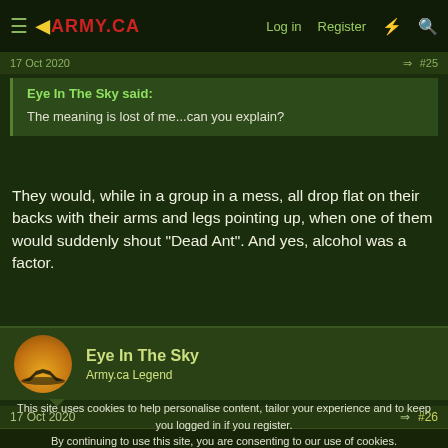◀ARMY.CA  Log in  Register
17 Oct 2020   #25
Eye In The Sky said:
The meaning is lost of me...can you explain?
They would, while in a group in a mess, all drop flat on their backs with their arms and legs pointing up, when one of them would suddenly shout "Dead Ant". And yes, alcohol was a factor.
Eye In The Sky
Army.ca Legend
17 Oct 2020   #26
This site uses cookies to help personalise content, tailor your experience and to keep you logged in if you register.
By continuing to use this site, you are consenting to our use of cookies.